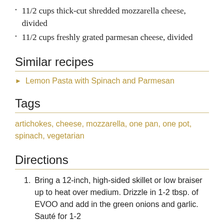11/2 cups thick-cut shredded mozzarella cheese, divided
11/2 cups freshly grated parmesan cheese, divided
Similar recipes
Lemon Pasta with Spinach and Parmesan
Tags
artichokes, cheese, mozzarella, one pan, one pot, spinach, vegetarian
Directions
Bring a 12-inch, high-sided skillet or low braiser up to heat over medium. Drizzle in 1-2 tbsp. of EVOO and add in the green onions and garlic. Sauté for 1-2